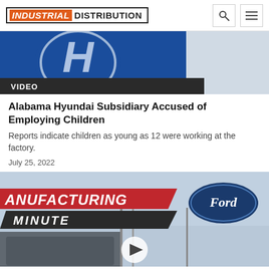INDUSTRIAL DISTRIBUTION
[Figure (photo): Hyundai sign/logo on building with blue background, partially cropped. VIDEO label overlay at bottom.]
Alabama Hyundai Subsidiary Accused of Employing Children
Reports indicate children as young as 12 were working at the factory.
July 25, 2022
[Figure (screenshot): Manufacturing Minute video thumbnail showing Ford dealership signage with red and black Manufacturing Minute logo overlay and play button.]